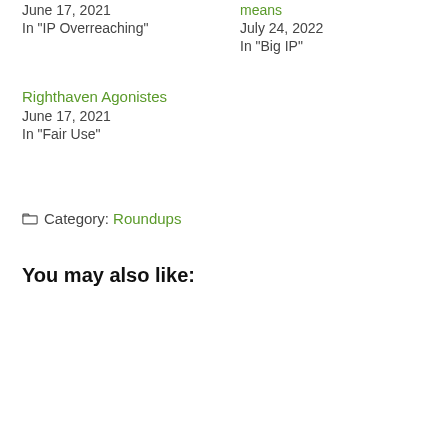June 17, 2021
In "IP Overreaching"
means
July 24, 2022
In "Big IP"
Righthaven Agonistes
June 17, 2021
In "Fair Use"
Category: Roundups
You may also like: